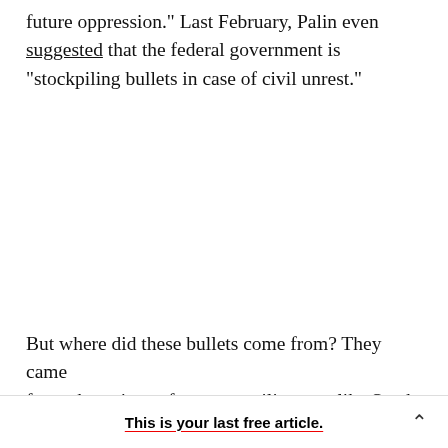future oppression." Last February, Palin even suggested that the federal government is "stockpiling bullets in case of civil unrest."
But where did these bullets come from? They came from champions of a strong military — like Sarah
This is your last free article.